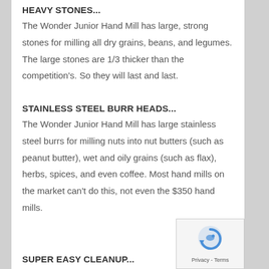HEAVY STONES...
The Wonder Junior Hand Mill has large, strong stones for milling all dry grains, beans, and legumes. The large stones are 1/3 thicker than the competition's. So they will last and last.
STAINLESS STEEL BURR HEADS...
The Wonder Junior Hand Mill has large stainless steel burrs for milling nuts into nut butters (such as peanut butter), wet and oily grains (such as flax), herbs, spices, and even coffee. Most hand mills on the market can't do this, not even the $350 hand mills.
SUPER EASY CLEANUP...